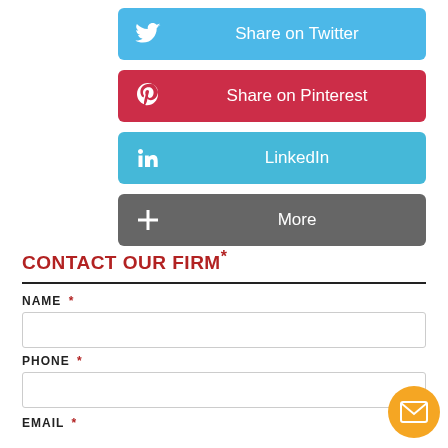[Figure (infographic): Social share buttons: Twitter (blue), Pinterest (red), LinkedIn (blue), More (gray)]
CONTACT OUR FIRM*
NAME *
PHONE *
EMAIL *